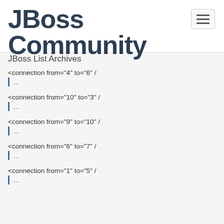JBoss Community
JBoss List Archives
<connection from="4" to="6" /
...
<connection from="10" to="3" /
...
<connection from="9" to="10" /
...
<connection from="6" to="7" /
...
<connection from="1" to="5" /
...